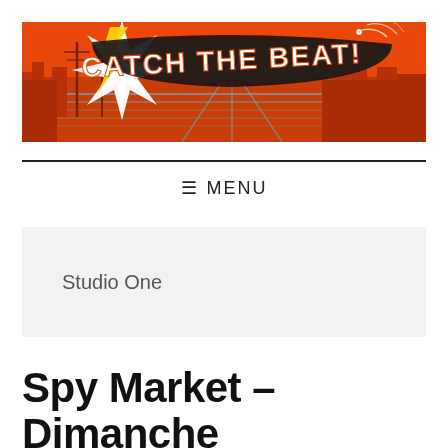[Figure (illustration): Orange banner with comic-book style artwork reading 'CATCH THE BEAT!' with a starburst explosion and city skyline silhouette in blue]
≡ MENU
Studio One
Spy Market – Dimanche